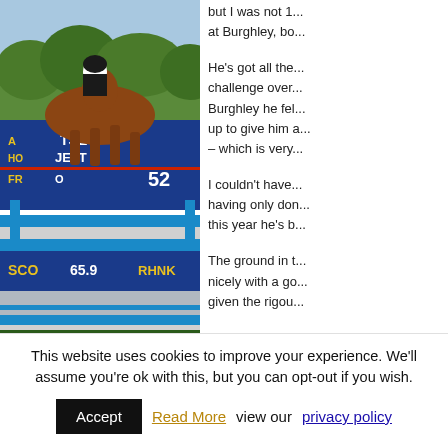[Figure (photo): Equestrian show jumping photo: rider on chestnut horse jumping over blue and white poles, with electronic scoreboard behind showing 'RUSE JETT FR...O 52' and 'SCO 65.9 RHNK']
but I was not 1... at Burghley, bo...
He's got all the... challenge over... Burghley he fel... up to give him a... – which is very...
I couldn't have... having only don... this year he's b...
The ground in t... nicely with a go... given the rigou...
This website uses cookies to improve your experience. We'll assume you're ok with this, but you can opt-out if you wish.
Accept  Read More view our privacy policy